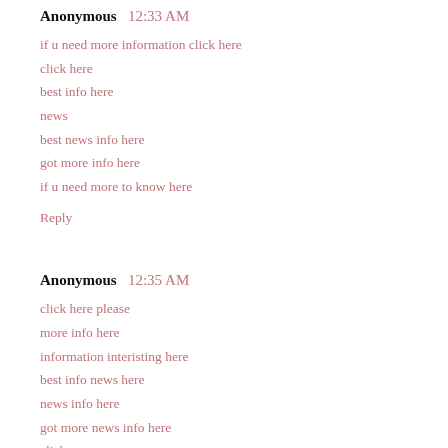Anonymous  12:33 AM
if u need more information click here
click here
best info here
news
best news info here
got more info here
if u need more to know here
Reply
Anonymous  12:35 AM
click here please
more info here
information interisting here
best info news here
news info here
got more news info here
click me
Reply